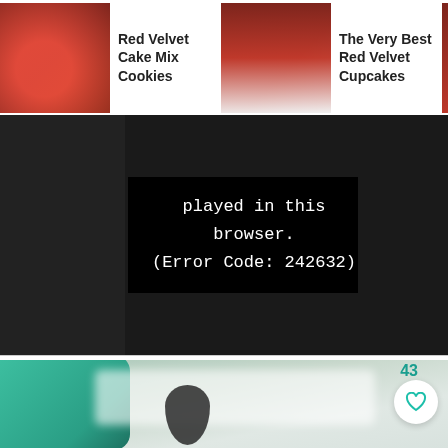[Figure (screenshot): Top navigation bar showing recipe thumbnails: Red Velvet Cake Mix Cookies, The Very Best Red Velvet Cupcakes, Red Velvet Cupcakes with Cream Cheese (partially cut off)]
[Figure (screenshot): Black video player error screen showing text: 'played in this browser. (Error Code: 242632)']
[Figure (photo): Blurred food/baking photo with teal/green object on left, blurred white item, dark shape, with a heart (like) button showing count 43 and a teal search button in the lower right]